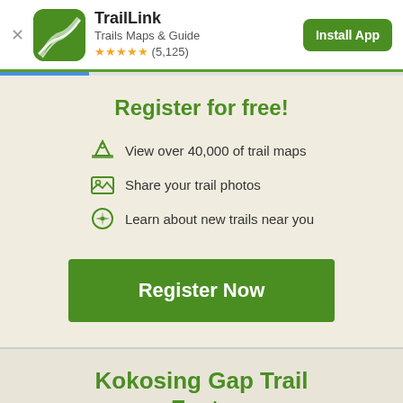TrailLink — Trails Maps & Guide ★★★★★ (5,125) — Install App
Register for free!
View over 40,000 of trail maps
Share your trail photos
Learn about new trails near you
Register Now
Kokosing Gap Trail Facts